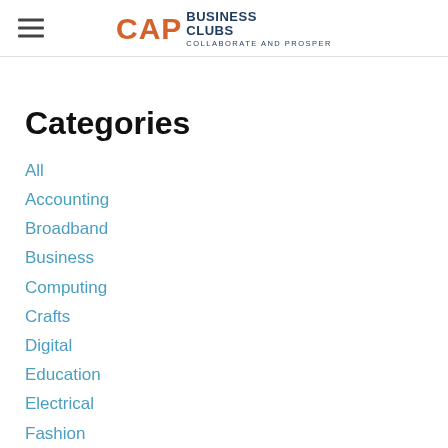CAP Business Clubs — Collaborate And Prosper
Categories
All
Accounting
Broadband
Business
Computing
Crafts
Digital
Education
Electrical
Fashion
Finance
Food And Drink